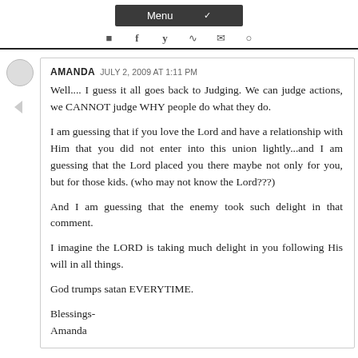Menu
AMANDA  JULY 2, 2009 AT 1:11 PM

Well.... I guess it all goes back to Judging. We can judge actions, we CANNOT judge WHY people do what they do.

I am guessing that if you love the Lord and have a relationship with Him that you did not enter into this union lightly...and I am guessing that the Lord placed you there maybe not only for you, but for those kids. (who may not know the Lord???)

And I am guessing that the enemy took such delight in that comment.

I imagine the LORD is taking much delight in you following His will in all things.

God trumps satan EVERYTIME.

Blessings-
Amanda